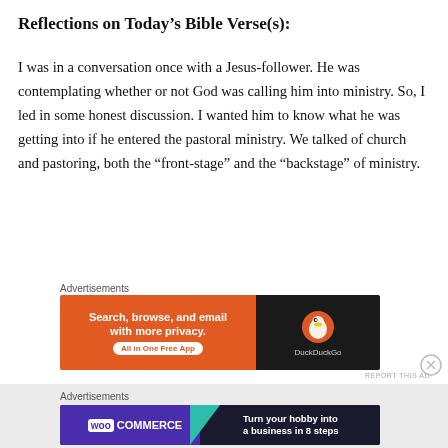Reflections on Today's Bible Verse(s):
I was in a conversation once with a Jesus-follower. He was contemplating whether or not God was calling him into ministry. So, I led in some honest discussion. I wanted him to know what he was getting into if he entered the pastoral ministry. We talked of church and pastoring, both the “front-stage” and the “backstage” of ministry.
Advertisements
[Figure (other): DuckDuckGo advertisement banner: orange left side with text 'Search, browse, and email with more privacy. All in One Free App' and dark right side with DuckDuckGo logo and duck icon]
Advertisements
[Figure (other): WooCommerce advertisement banner: purple background with WooCommerce logo on left and text 'Turn your hobby into a business in 8 steps' on right with teal and orange geometric shapes]